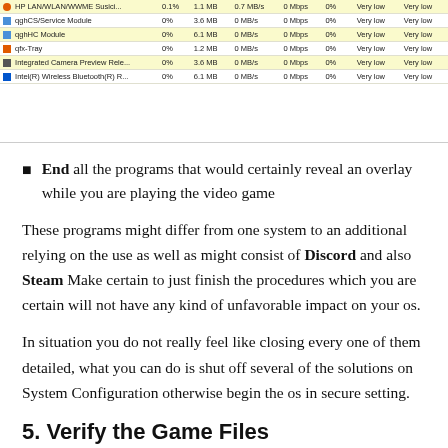[Figure (screenshot): Task Manager or similar system process list showing processes with columns for CPU, Memory, Disk, Network usage. Rows include HP LAN/WLAN/WWAN Susici..., qghCS/Service Module, qghHC Module, qfx-Tray, Integrated Camera Preview Relea..., Intel(R) Wireless Bluetooth(R) R... All showing 0% CPU, varying MB, 0 MB/s disk, 0 Mbps network, 0% GPU, Very low ratings.]
End all the programs that would certainly reveal an overlay while you are playing the video game
These programs might differ from one system to an additional relying on the use as well as might consist of Discord and also Steam Make certain to just finish the procedures which you are certain will not have any kind of unfavorable impact on your os.
In situation you do not really feel like closing every one of them detailed, what you can do is shut off several of the solutions on System Configuration otherwise begin the os in secure setting.
5. Verify the Game Files
Files can often have a tendency to produce a problem for you. Its